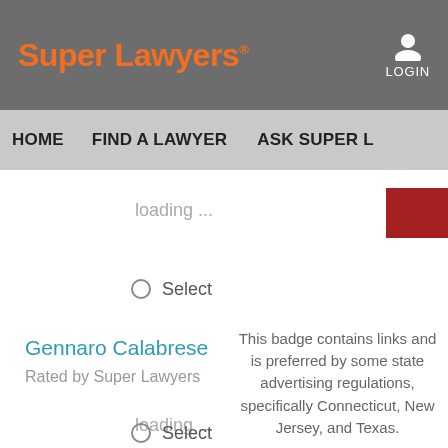Super Lawyers
LOGIN
HOME   FIND A LAWYER   ASK SUPER L
loading ...
Select
Gennaro Calabrese
Rated by Super Lawyers
This badge contains links and is preferred by some state advertising regulations, specifically Connecticut, New Jersey, and Texas.
loading ...
Select